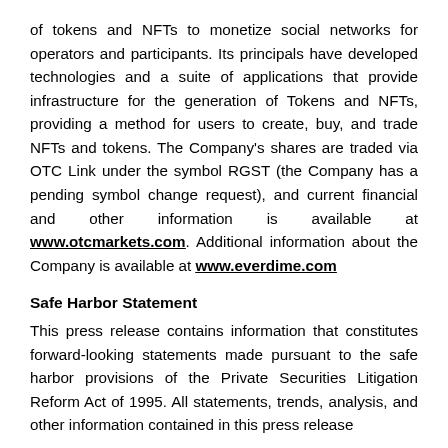of tokens and NFTs to monetize social networks for operators and participants. Its principals have developed technologies and a suite of applications that provide infrastructure for the generation of Tokens and NFTs, providing a method for users to create, buy, and trade NFTs and tokens. The Company's shares are traded via OTC Link under the symbol RGST (the Company has a pending symbol change request), and current financial and other information is available at www.otcmarkets.com. Additional information about the Company is available at www.everdime.com
Safe Harbor Statement
This press release contains information that constitutes forward-looking statements made pursuant to the safe harbor provisions of the Private Securities Litigation Reform Act of 1995. All statements, trends, analysis, and other information contained in this press release